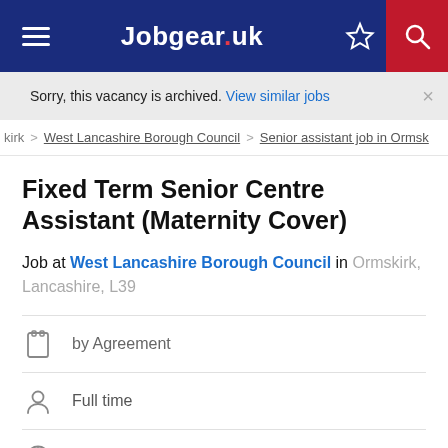Jobgear.uk
Sorry, this vacancy is archived. View similar jobs
kirkirk > West Lancashire Borough Council > Senior assistant job in Ormsk
Fixed Term Senior Centre Assistant (Maternity Cover)
Job at West Lancashire Borough Council in Ormskirk, Lancashire, L39
by Agreement
Full time
Councils company